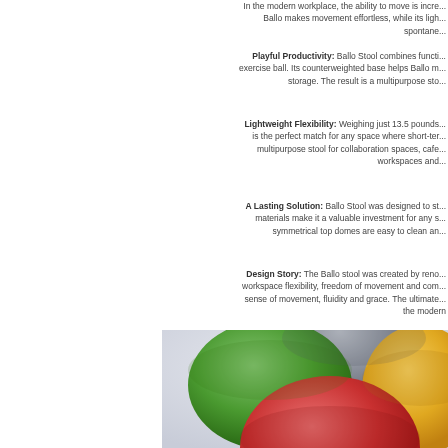In the modern workplace, the ability to move is increasingly important. Ballo makes movement effortless, while its lightweight design encourages spontaneous collaboration.
Playful Productivity: Ballo Stool combines functionality with the fun of an exercise ball. Its counterweighted base helps Ballo maintain its position for storage. The result is a multipurpose stool that employees truly enjoy.
Lightweight Flexibility: Weighing just 13.5 pounds, the Ballo stool is the perfect match for any space where short-term seating is needed. A multipurpose stool for collaboration spaces, cafeterias, touchdown workspaces and more.
A Lasting Solution: Ballo Stool was designed to stand the test of time. Its materials make it a valuable investment for any space. The smooth and symmetrical top domes are easy to clean and maintain.
Design Story: The Ballo stool was created by renowned designer to fulfill workspace flexibility, freedom of movement and comfort. Ballo embodies a sense of movement, fluidity and grace. The ultimate multi-purpose stool for the modern workplace.
[Figure (photo): Four colorful dome-shaped Ballo stools photographed from above at an angle, showing gray, green, yellow, and red/pink colored domes clustered together on a white background.]